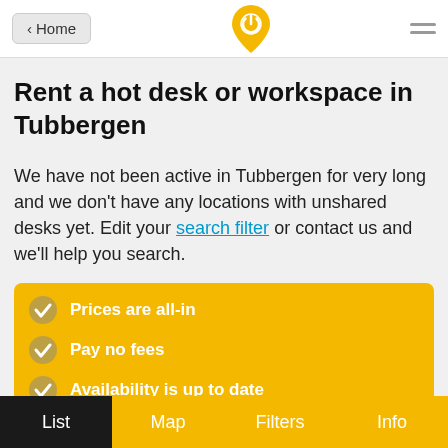< Home
Rent a hot desk or workspace in Tubbergen
We have not been active in Tubbergen for very long and we don't have any locations with unshared desks yet. Edit your search filter or contact us and we'll help you search.
Prices are all-in
Pay no fees
Availability is up to date
List  Map  Filters  Info